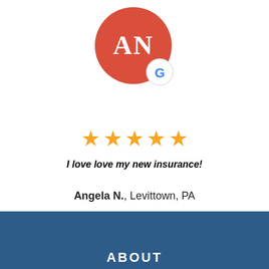[Figure (logo): Red circular avatar with white letters AN and a Google G badge in the bottom right]
[Figure (infographic): Five gold star rating icons]
I love love my new insurance!
Angela N., Levittown, PA
See All Reviews
ABOUT